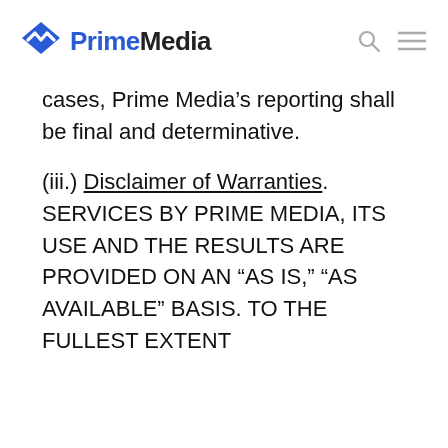PrimeMedia
cases, Prime Media’s reporting shall be final and determinative.
(iii.) Disclaimer of Warranties. SERVICES BY PRIME MEDIA, ITS USE AND THE RESULTS ARE PROVIDED ON AN “AS IS,” “AS AVAILABLE” BASIS. TO THE FULLEST EXTENT